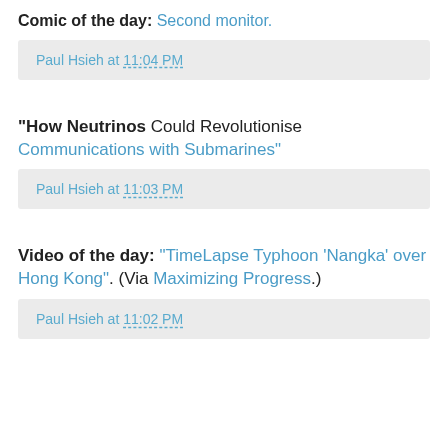Comic of the day: Second monitor.
Paul Hsieh at 11:04 PM
"How Neutrinos Could Revolutionise Communications with Submarines"
Paul Hsieh at 11:03 PM
Video of the day: "TimeLapse Typhoon 'Nangka' over Hong Kong". (Via Maximizing Progress.)
Paul Hsieh at 11:02 PM